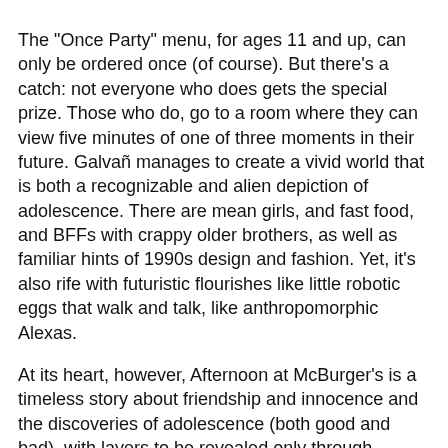The "Once Party" menu, for ages 11 and up, can only be ordered once (of course). But there's a catch: not everyone who does gets the special prize. Those who do, go to a room where they can view five minutes of one of three moments in their future. Galvañ manages to create a vivid world that is both a recognizable and alien depiction of adolescence. There are mean girls, and fast food, and BFFs with crappy older brothers, as well as familiar hints of 1990s design and fashion. Yet, it's also rife with futuristic flourishes like little robotic eggs that walk and talk, like anthropomorphic Alexas.
At its heart, however, Afternoon at McBurger's is a timeless story about friendship and innocence and the discoveries of adolescence (both good and bad), with layers to be revealed only through multiple readings. And Galvañ's visual style, anchored by a mastery of pastel and primary colors, will make you want to do so immediately.
In Shops: Dec 29, 2021
SRP: 16.99